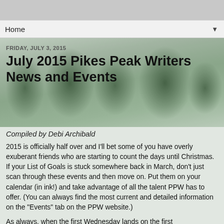Home ▼
FRIDAY, JULY 3, 2015
July 2015 Pikes Peak Writers News and Events
Compiled by Debi Archibald
2015 is officially half over and I'll bet some of you have overly exuberant friends who are starting to count the days until Christmas. If your List of Goals is stuck somewhere back in March, don't just scan through these events and then move on. Put them on your calendar (in ink!) and take advantage of all the talent PPW has to offer. (You can always find the most current and detailed information on the "Events" tab on the PPW website.)
As always, when the first Wednesday lands on the first